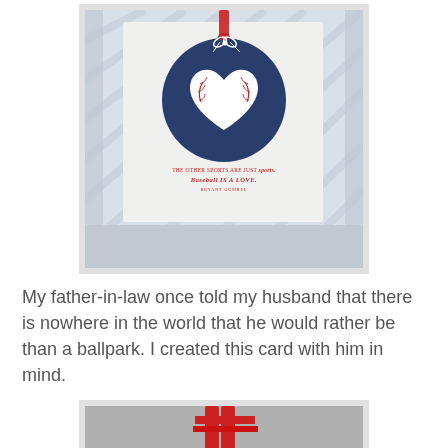[Figure (photo): Handmade greeting card with a blue circular embellishment featuring a heart-shaped cutout revealing a baseball pattern underneath. The card has a light blue striped background and includes a quote about baseball. A white ribbon/twine bow is at the top.]
My father-in-law once told my husband that there is nowhere in the world that he would rather be than a ballpark. I created this card with him in mind.
[Figure (photo): Partial view of another handmade card with red elements, cropped at the bottom of the page.]